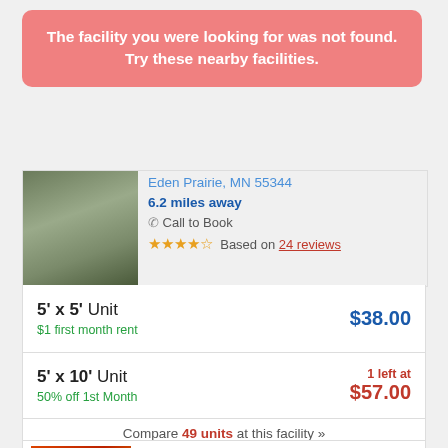The facility you were looking for was not found. Try these nearby facilities.
Eden Prairie, MN 55344
6.2 miles away
Call to Book
Based on 24 reviews
5' x 5' Unit
$1 first month rent
$38.00
5' x 10' Unit
50% off 1st Month
1 left at
$57.00
10' x 10' Unit
50% off 1st Month
2 left at
$78.00
Compare 49 units at this facility »
Public Storage - Savage - 14175 Virginia ...
Savage, MN 55378
10.7 miles away